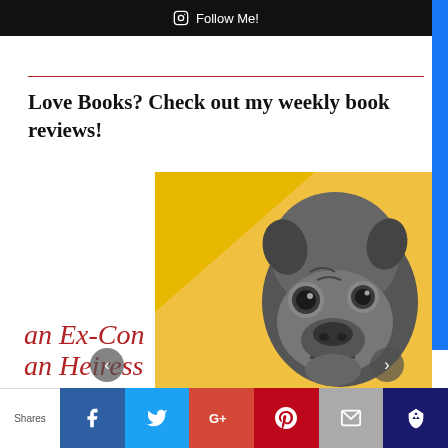Follow Me!
Love Books? Check out my weekly book reviews!
[Figure (illustration): Book cover image showing a black pug dog on a yellow background with text reading 'an Ex-Con' and 'an Heiress' in red italic letters, with left and right navigation arrows.]
Shares | Facebook | Twitter | Google+ | Pinterest | Email | Crown